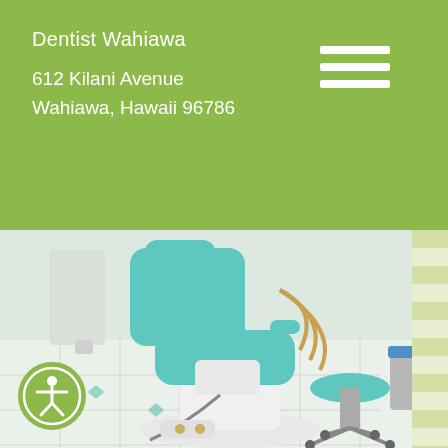Dentist Wahiawa
612 Kilani Avenue
Wahiawa, Hawaii 96786
[Figure (photo): Interior of a dental office showing a teal/turquoise dental chair with matching accessories and a dentist's stool on wheels, white tiled floor with teal diamond accents, dental equipment hoses and tools visible]
[Figure (illustration): Accessibility icon — white figure with arms and legs outstretched in a circle, on an olive/green circular background]